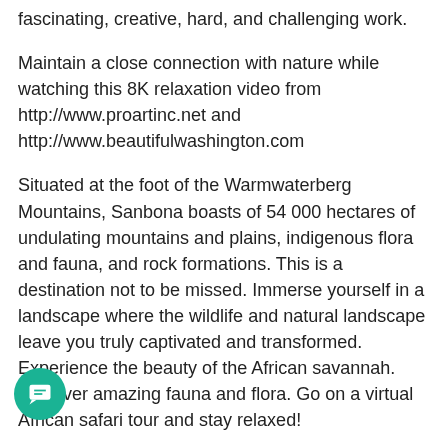fascinating, creative, hard, and challenging work.
Maintain a close connection with nature while watching this 8K relaxation video from http://www.proartinc.net and http://www.beautifulwashington.com
Situated at the foot of the Warmwaterberg Mountains, Sanbona boasts of 54 000 hectares of undulating mountains and plains, indigenous flora and fauna, and rock formations. This is a destination not to be missed. Immerse yourself in a landscape where the wildlife and natural landscape leave you truly captivated and transformed. Experience the beauty of the African savannah. Discover amazing fauna and flora. Go on a virtual African safari tour and stay relaxed!
Benefits of this 8K wildlife video:
tching scenes of nature is beneficial for your well-being;